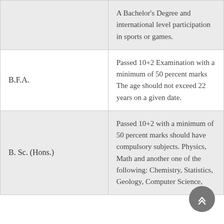|  | A Bachelor's Degree and international level participation in sports or games. |
| B.F.A. | Passed 10+2 Examination with a minimum of 50 percent marks
The age should not exceed 22 years on a given date. |
| B. Sc. (Hons.) | Passed 10+2 with a minimum of 50 percent marks should have compulsory subjects. Physics, Math and another one of the following: Chemistry, Statistics, Geology, Computer Science, |